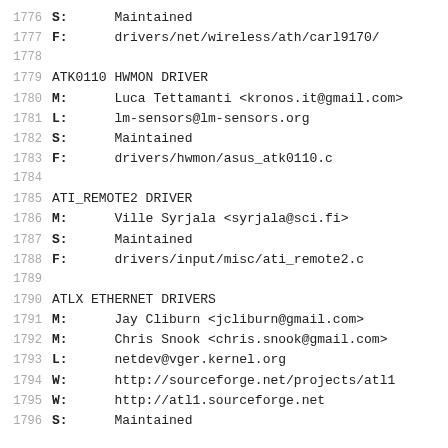1776    S:      Maintained
1777    F:      drivers/net/wireless/ath/carl9170/
1778
1779    ATK0110 HWMON DRIVER
1780    M:      Luca Tettamanti <kronos.it@gmail.com>
1781    L:      lm-sensors@lm-sensors.org
1782    S:      Maintained
1783    F:      drivers/hwmon/asus_atk0110.c
1784
1785    ATI_REMOTE2 DRIVER
1786    M:      Ville Syrjala <syrjala@sci.fi>
1787    S:      Maintained
1788    F:      drivers/input/misc/ati_remote2.c
1789
1790    ATLX ETHERNET DRIVERS
1791    M:      Jay Cliburn <jcliburn@gmail.com>
1792    M:      Chris Snook <chris.snook@gmail.com>
1793    L:      netdev@vger.kernel.org
1794    W:      http://sourceforge.net/projects/atl1
1795    W:      http://atl1.sourceforge.net
1796    S:      Maintained